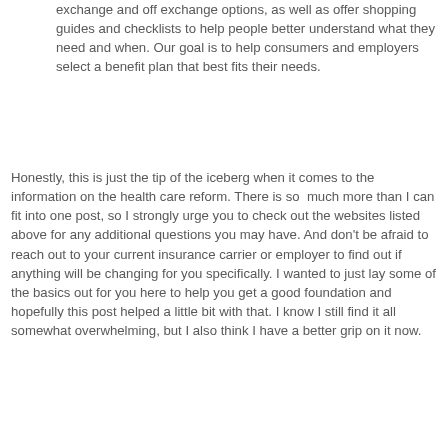exchange and off exchange options, as well as offer shopping guides and checklists to help people better understand what they need and when. Our goal is to help consumers and employers select a benefit plan that best fits their needs.
Honestly, this is just the tip of the iceberg when it comes to the information on the health care reform. There is so much more than I can fit into one post, so I strongly urge you to check out the websites listed above for any additional questions you may have. And don't be afraid to reach out to your current insurance carrier or employer to find out if anything will be changing for you specifically. I wanted to just lay some of the basics out for you here to help you get a good foundation and hopefully this post helped a little bit with that. I know I still find it all somewhat overwhelming, but I also think I have a better grip on it now.